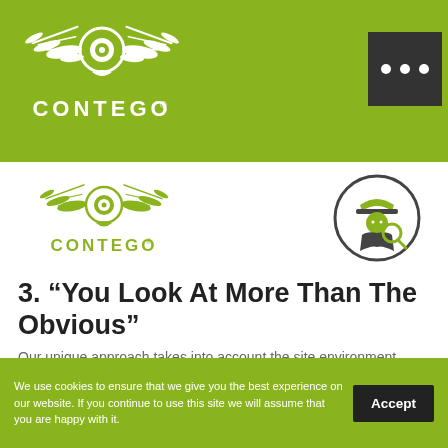[Figure (logo): Contego logo with wings and circular emblem in white on green header bar, with CONTEGO text]
[Figure (logo): Three-dot menu button icon on dark background in top-right of header]
[Figure (logo): Contego logo with wings in olive/green on white background]
[Figure (illustration): Detective/inspector icon in circle - person with magnifying glass]
3. “You Look At More Than The Obvious”
Our unique approach takes into account the site environment, hygiene, proofing standards, drainage systems and architectural designs. Thinking different to solve the problem.
We use cookies to ensure that we give you the best experience on our website. If you continue to use this site we will assume that you are happy with it.